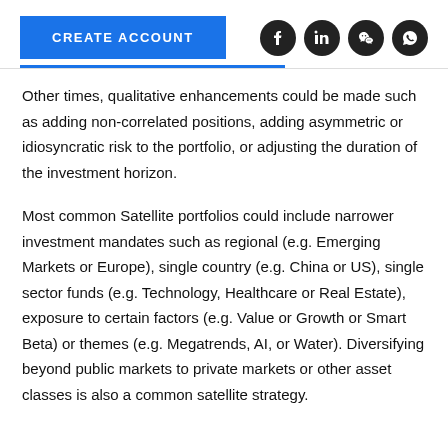CREATE ACCOUNT
Other times, qualitative enhancements could be made such as adding non-correlated positions, adding asymmetric or idiosyncratic risk to the portfolio, or adjusting the duration of the investment horizon.
Most common Satellite portfolios could include narrower investment mandates such as regional (e.g. Emerging Markets or Europe), single country (e.g. China or US), single sector funds (e.g. Technology, Healthcare or Real Estate), exposure to certain factors (e.g. Value or Growth or Smart Beta) or themes (e.g. Megatrends, AI, or Water). Diversifying beyond public markets to private markets or other asset classes is also a common satellite strategy.